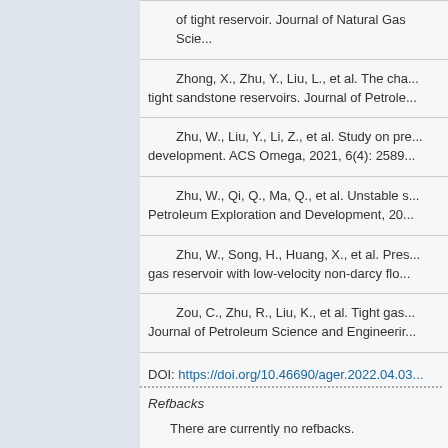of tight reservoir. Journal of Natural Gas Scie...
Zhong, X., Zhu, Y., Liu, L., et al. The cha... tight sandstone reservoirs. Journal of Petrole...
Zhu, W., Liu, Y., Li, Z., et al. Study on pre... development. ACS Omega, 2021, 6(4): 2589...
Zhu, W., Qi, Q., Ma, Q., et al. Unstable s... Petroleum Exploration and Development, 20...
Zhu, W., Song, H., Huang, X., et al. Pres... gas reservoir with low-velocity non-darcy flo...
Zou, C., Zhu, R., Liu, K., et al. Tight gas... Journal of Petroleum Science and Engineerir...
DOI: https://doi.org/10.46690/ager.2022.04.03...
Refbacks
There are currently no refbacks.